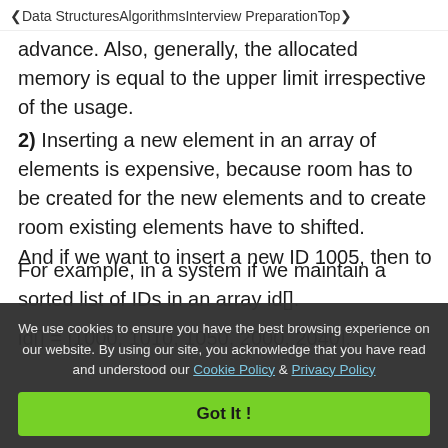< Data Structures   Algorithms   Interview Preparation   Top>
advance. Also, generally, the allocated memory is equal to the upper limit irrespective of the usage.
2) Inserting a new element in an array of elements is expensive, because room has to be created for the new elements and to create room existing elements have to shifted.
For example, in a system if we maintain a sorted list of IDs in an array id[].
id[] = [1000, 1010, 1050, 2000, 2040].
And if we want to insert a new ID 1005, then to
We use cookies to ensure you have the best browsing experience on our website. By using our site, you acknowledge that you have read and understood our Cookie Policy & Privacy Policy
Got It !